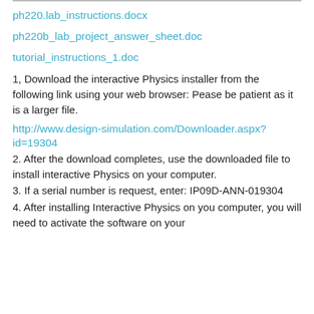ph220.lab_instructions.docx
ph220b_lab_project_answer_sheet.doc
tutorial_instructions_1.doc
1, Download the interactive Physics installer from the following link using your web browser: Pease be patient as it is a larger file.
http://www.design-simulation.com/Downloader.aspx?id=19304
2. After the download completes, use the downloaded file to install interactive Physics on your computer.
3. If a serial number is request, enter: IP09D-ANN-019304
4. After installing Interactive Physics on you computer, you will need to activate the software on your